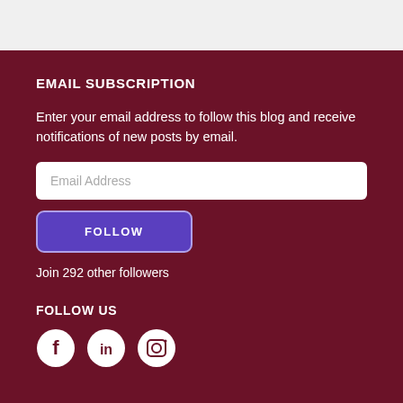EMAIL SUBSCRIPTION
Enter your email address to follow this blog and receive notifications of new posts by email.
Email Address
FOLLOW
Join 292 other followers
FOLLOW US
[Figure (illustration): Three social media icons: Facebook (circle with F), LinkedIn (circle with in), Instagram (circle with camera icon)]